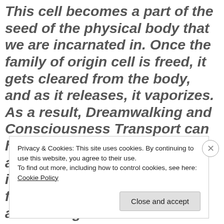This cell becomes a part of the seed of the physical body that we are incarnated in. Once the family of origin cell is freed, it gets cleared from the body, and as it releases, it vaporizes. As a result, Dreamwalking and Consciousness Transport can happen with or without applying direct effort and intention to do so, as it is a function of the memories that are coming online that are recorded
Privacy & Cookies: This site uses cookies. By continuing to use this website, you agree to their use. To find out more, including how to control cookies, see here: Cookie Policy